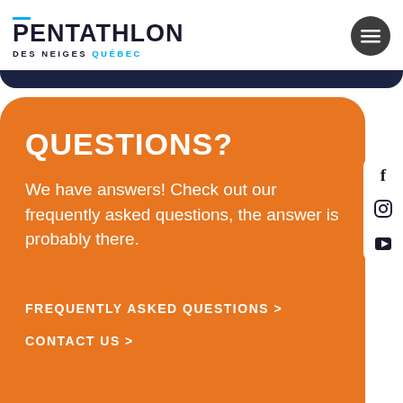[Figure (logo): Pentathlon des neiges Québec logo with teal accent bar above letter P, and teal colored word QUÉBEC]
QUESTIONS?
We have answers! Check out our frequently asked questions, the answer is probably there.
FREQUENTLY ASKED QUESTIONS >
CONTACT US >